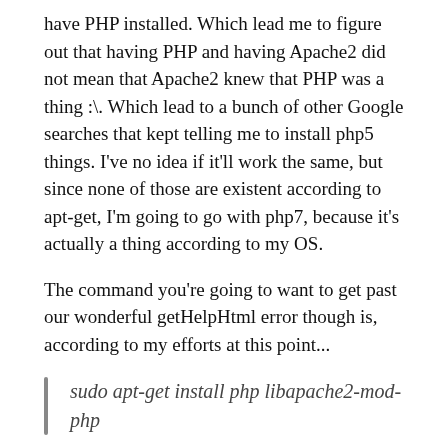have PHP installed. Which lead me to figure out that having PHP and having Apache2 did not mean that Apache2 knew that PHP was a thing :\. Which lead to a bunch of other Google searches that kept telling me to install php5 things. I've no idea if it'll work the same, but since none of those are existent according to apt-get, I'm going to go with php7, because it's actually a thing according to my OS.
The command you're going to want to get past our wonderful getHelpHtml error though is, according to my efforts at this point...
sudo apt-get install php libapache2-mod-php